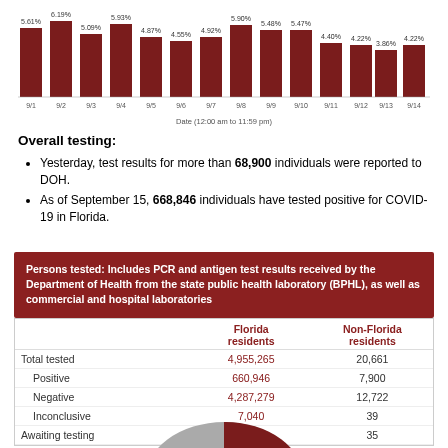[Figure (bar-chart): Daily positive rate by report date (12:00 am to 11:59 pm)]
Overall testing:
Yesterday, test results for more than 68,900 individuals were reported to DOH.
As of September 15, 668,846 individuals have tested positive for COVID-19 in Florida.
Persons tested: Includes PCR and antigen test results received by the Department of Health from the state public health laboratory (BPHL), as well as commercial and hospital laboratories
|  | Florida residents | Non-Florida residents |
| --- | --- | --- |
| Total tested | 4,955,265 | 20,661 |
| Positive | 660,946 | 7,900 |
| Negative | 4,287,279 | 12,722 |
| Inconclusive | 7,040 | 39 |
| Awaiting testing | 3,725 | 35 |